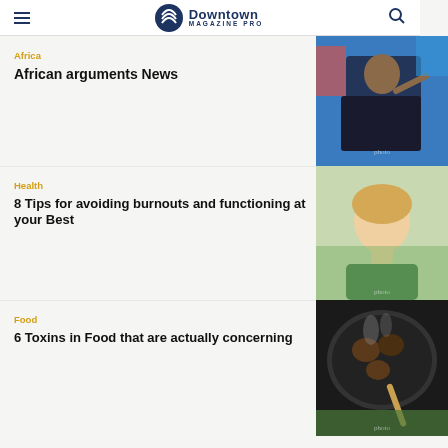Downtown Magazine Pro
Africa
African arguments News
[Figure (photo): Man in suit pointing finger, speaking at an event]
Health
8 Tips for avoiding burnouts and functioning at your Best
[Figure (photo): Woman with short blonde hair tilting head back outdoors]
Food
6 Toxins in Food that are actually concerning
[Figure (photo): Food being cooked on a grill with smoke]